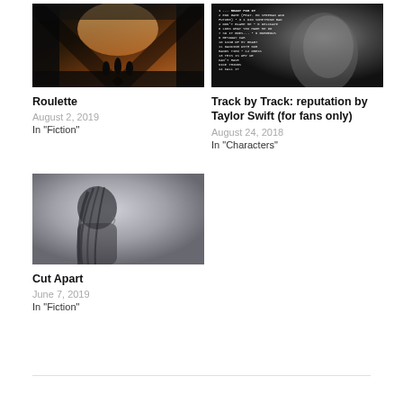[Figure (photo): Dark industrial or abandoned interior with dramatic light coming through openings, silhouettes visible]
Roulette
August 2, 2019
In "Fiction"
[Figure (photo): Black and white photo of Taylor Swift with album track listing text overlaid in a swirling pattern]
Track by Track: reputation by Taylor Swift (for fans only)
August 24, 2018
In "Characters"
[Figure (photo): Blurry profile silhouette of a person with long dark hair against a light grey background]
Cut Apart
June 7, 2019
In "Fiction"